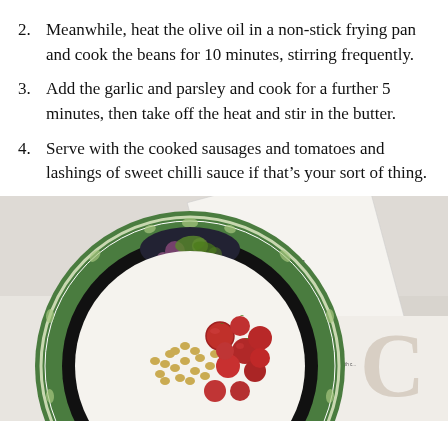2. Meanwhile, heat the olive oil in a non-stick frying pan and cook the beans for 10 minutes, stirring frequently.
3. Add the garlic and parsley and cook for a further 5 minutes, then take off the heat and stir in the butter.
4. Serve with the cooked sausages and tomatoes and lashings of sweet chilli sauce if that’s your sort of thing.
[Figure (photo): A decorative green and white plate with a floral/leaf border pattern and black dotted inner rim, holding cooked cherry tomatoes and small beans/legumes, placed on a white surface next to a Guardian newspaper.]